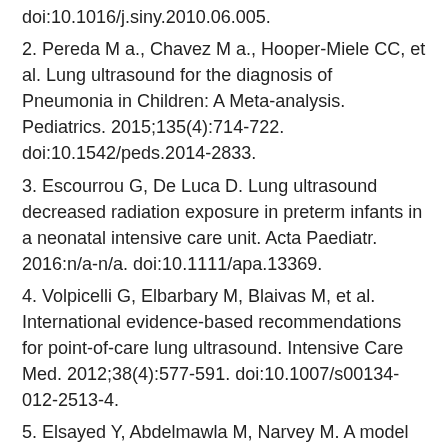doi:10.1016/j.siny.2010.06.005.
2. Pereda M a., Chavez M a., Hooper-Miele CC, et al. Lung ultrasound for the diagnosis of Pneumonia in Children: A Meta-analysis. Pediatrics. 2015;135(4):714-722. doi:10.1542/peds.2014-2833.
3. Escourrou G, De Luca D. Lung ultrasound decreased radiation exposure in preterm infants in a neonatal intensive care unit. Acta Paediatr. 2016:n/a-n/a. doi:10.1111/apa.13369.
4. Volpicelli G, Elbarbary M, Blaivas M, et al. International evidence-based recommendations for point-of-care lung ultrasound. Intensive Care Med. 2012;38(4):577-591. doi:10.1007/s00134-012-2513-4.
5. Elsayed Y, Abdelmawla M, Narvey M. A model of integrated lung and focused heart ultrasound as a